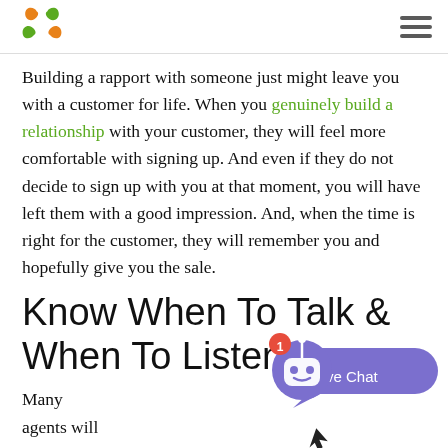[Logo] [Hamburger menu]
Building a rapport with someone just might leave you with a customer for life. When you genuinely build a relationship with your customer, they will feel more comfortable with signing up. And even if they do not decide to sign up with you at that moment, you will have left them with a good impression. And, when the time is right for the customer, they will remember you and hopefully give you the sale.
Know When To Talk & When To Listen
Many agents will
[Figure (illustration): Live chat widget with a purple robot icon, a red badge showing '1', and a 'Live Chat' label in a purple speech bubble. A cursor/hand icon is partially visible at the bottom.]